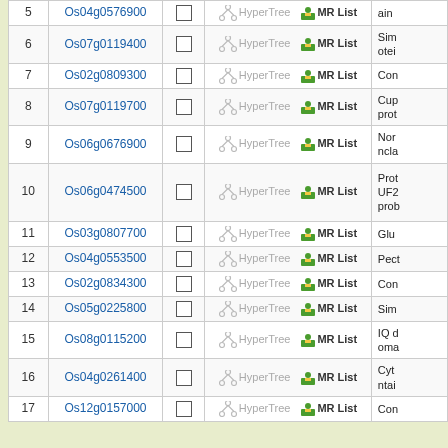| # | Gene ID |  | Links | Description |
| --- | --- | --- | --- | --- |
| 5 | Os04g0576900 | ☐ | HyperTree  MR List | ain... |
| 6 | Os07g0119400 | ☐ | HyperTree  MR List | Sim... otei... |
| 7 | Os02g0809300 | ☐ | HyperTree  MR List | Con... |
| 8 | Os07g0119700 | ☐ | HyperTree  MR List | Cup... prot... |
| 9 | Os06g0676900 | ☐ | HyperTree  MR List | Non... ncla... |
| 10 | Os06g0474500 | ☐ | HyperTree  MR List | Prot... UF2... prob... |
| 11 | Os03g0807700 | ☐ | HyperTree  MR List | Glu... |
| 12 | Os04g0553500 | ☐ | HyperTree  MR List | Pect... |
| 13 | Os02g0834300 | ☐ | HyperTree  MR List | Con... |
| 14 | Os05g0225800 | ☐ | HyperTree  MR List | Sim... |
| 15 | Os08g0115200 | ☐ | HyperTree  MR List | IQ d... oma... |
| 16 | Os04g0261400 | ☐ | HyperTree  MR List | Cyt... ntai... |
| 17 | Os12g0157000 | ☐ | HyperTree  MR List | Con... |